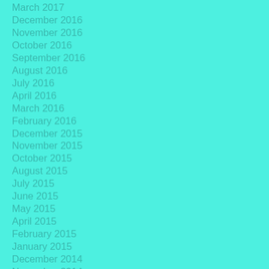March 2017
December 2016
November 2016
October 2016
September 2016
August 2016
July 2016
April 2016
March 2016
February 2016
December 2015
November 2015
October 2015
August 2015
July 2015
June 2015
May 2015
April 2015
February 2015
January 2015
December 2014
November 2014
September 2014